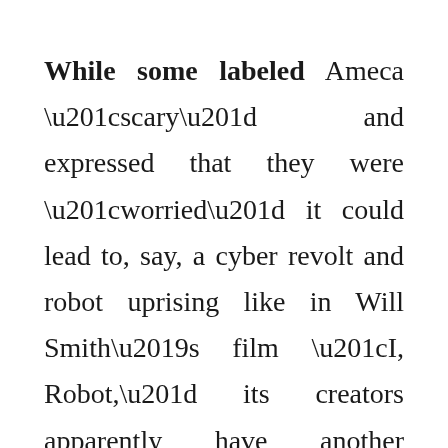While some labeled Ameca “scary” and expressed that they were “worried” it could lead to, say, a cyber revolt and robot uprising like in Will Smith’s film “I, Robot,” its creators apparently have another purpose in mind for the technological breakthrough.
“Wow your customers or visitors at an event or visitor attraction,” the company wrote, indicating that “the future face of